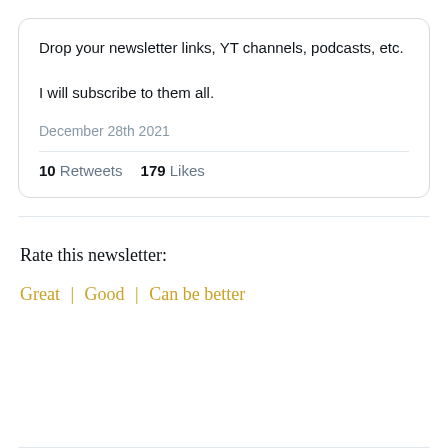Drop your newsletter links, YT channels, podcasts, etc.

I will subscribe to them all.
December 28th 2021
10 Retweets  179 Likes
Rate this newsletter:
Great | Good | Can be better